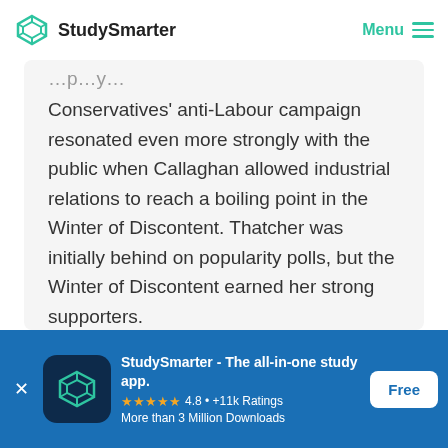StudySmarter   Menu
Conservatives' anti-Labour campaign resonated even more strongly with the public when Callaghan allowed industrial relations to reach a boiling point in the Winter of Discontent. Thatcher was initially behind on popularity polls, but the Winter of Discontent earned her strong supporters.
[Figure (logo): StudySmarter app banner with logo, app name 'StudySmarter - The all-in-one study app.', 4.8 star rating, +11k Ratings, More than 3 Million Downloads, Free button]